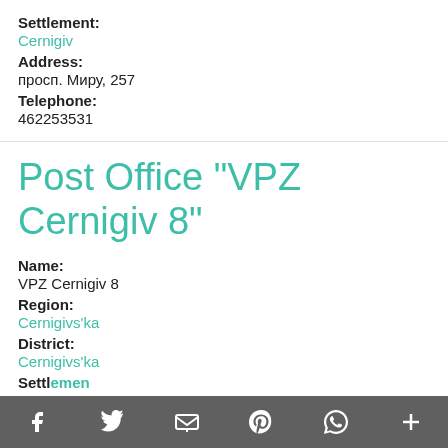Settlement:
Cernigiv
Address:
просп. Миру, 257
Telephone:
462253531
Post Office "VPZ Cernigiv 8"
Name:
VPZ Cernigiv 8
Region:
Cernigivs'ka
District:
Cernigivs'ka
Settlement:
f  t  [email]  p  [whatsapp]  +